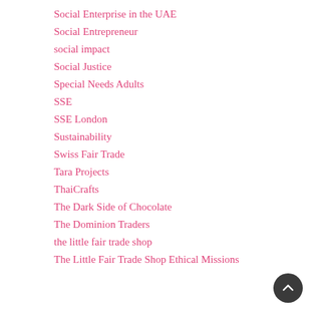Social Enterprise in the UAE
Social Entrepreneur
social impact
Social Justice
Special Needs Adults
SSE
SSE London
Sustainability
Swiss Fair Trade
Tara Projects
ThaiCrafts
The Dark Side of Chocolate
The Dominion Traders
the little fair trade shop
The Little Fair Trade Shop Ethical Missions